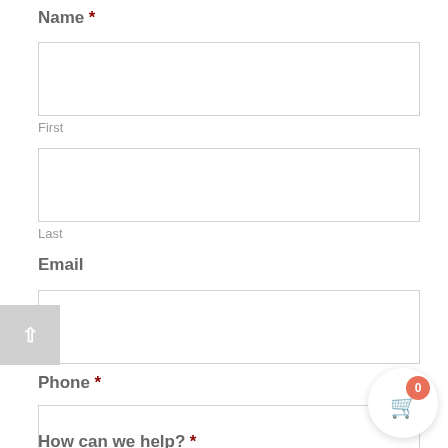Name *
First
Last
Email
Phone *
How can we help? *